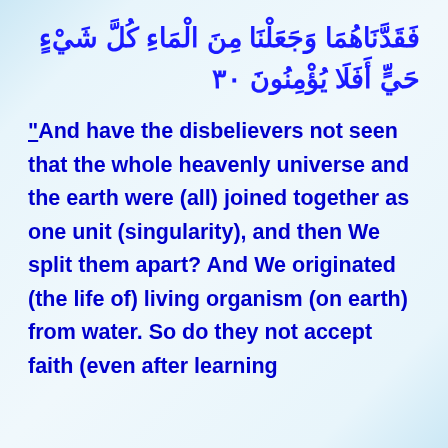فَقَدَّنَاهُمَا وَجَعَلْنَا مِنَ الْمَاءِ كُلَّ شَيْءٍ حَيٍّ أَفَلَا يُؤْمِنُونَ ٣٠
"And have the disbelievers not seen that the whole heavenly universe and the earth were (all) joined together as one unit (singularity), and then We split them apart? And We originated (the life of) living organism (on earth) from water. So do they not accept faith (even after learning